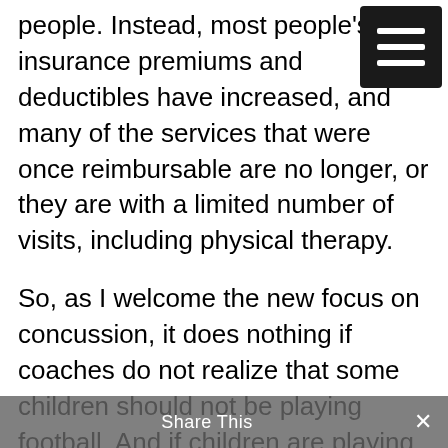people. Instead, most people's insurance premiums and deductibles have increased, and many of the services that were once reimbursable are no longer, or they are with a limited number of visits, including physical therapy.
So, as I welcome the new focus on concussion, it does nothing if coaches do not realize that some children should not be playing football. And if children are playing more sports, then the insurance companies must be willing to cover the symptoms of PCS, including problems with attention, focus, memory and sleep
Share This ×